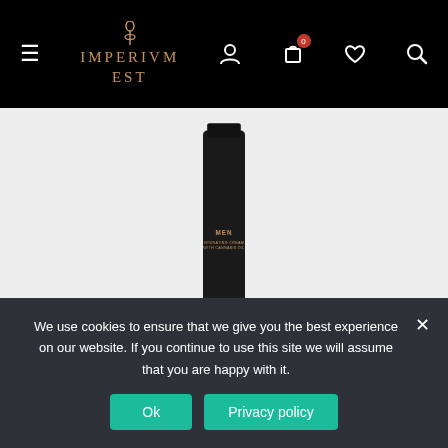IMPERIUM EST — navigation bar with hamburger menu, logo, user icon, cart (0), wishlist, search
[Figure (photo): Black cylindrical product bottle labeled 'MEN HYDRATING CREAM WITH CANNABIS OIL' on a light grey background]
REBORN MEN HYDRATING CREAM WITH
We use cookies to ensure that we give you the best experience on our website. If you continue to use this site we will assume that you are happy with it.